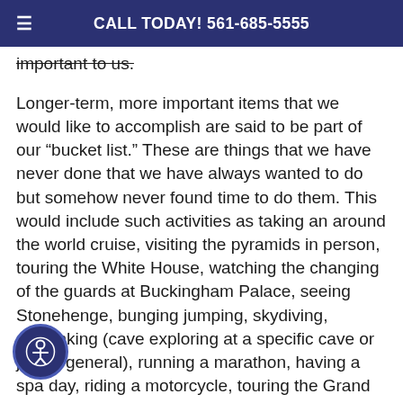CALL TODAY! 561-685-5555
important to us.
Longer-term, more important items that we would like to accomplish are said to be part of our “bucket list.” These are things that we have never done that we have always wanted to do but somehow never found time to do them. This would include such activities as taking an around the world cruise, visiting the pyramids in person, touring the White House, watching the changing of the guards at Buckingham Palace, seeing Stonehenge, bunging jumping, skydiving, spelunking (cave exploring at a specific cave or just in general), running a marathon, having a spa day, riding a motorcycle, touring the Grand Canyon by burro (or seeing it by helicopter), and so many other out-of-the-ordinary things